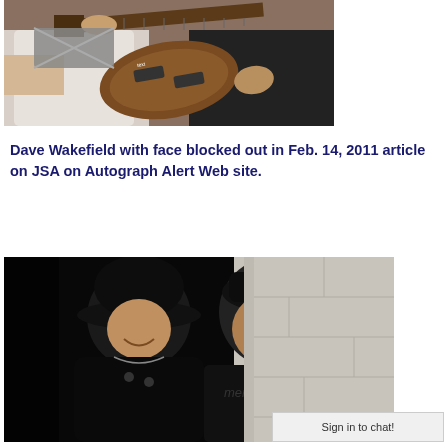[Figure (photo): Two people holding a guitar with engraved text, one person in white shirt on left, one in black shirt on right. The face of one person appears blocked out.]
Dave Wakefield with face blocked out in Feb. 14, 2011 article on JSA on Autograph Alert Web site.
[Figure (photo): Two men posing together. Man on left wears a black fedora hat and dark jacket. Man on right is heavier set wearing a black t-shirt with graphic design.]
Sign in to chat!